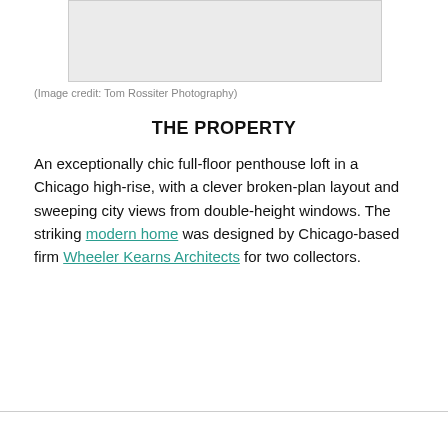[Figure (photo): Gray placeholder box representing a photograph]
(Image credit: Tom Rossiter Photography)
THE PROPERTY
An exceptionally chic full-floor penthouse loft in a Chicago high-rise, with a clever broken-plan layout and sweeping city views from double-height windows. The striking modern home was designed by Chicago-based firm Wheeler Kearns Architects for two collectors.